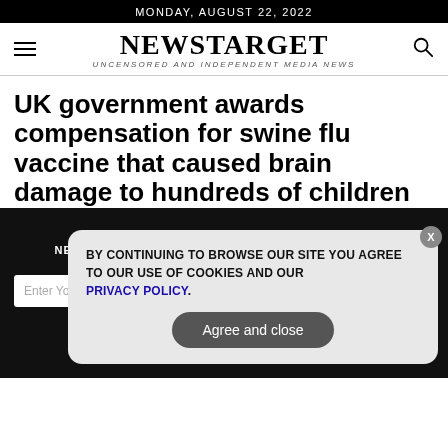MONDAY, AUGUST 22, 2022
NEWSTARGET
UNCENSORED AND INDEPENDENT MEDIA NEWS
UK government awards compensation for swine flu vaccine that caused brain damage to hundreds of children
GET THE WORLD'S #1 INDEPENDENT MEDIA NEWSLETTER DELIVERED STRAIGHT TO YOUR INBOX.
BY CONTINUING TO BROWSE OUR SITE YOU AGREE TO OUR USE OF COOKIES AND OUR PRIVACY POLICY.
Agree and close